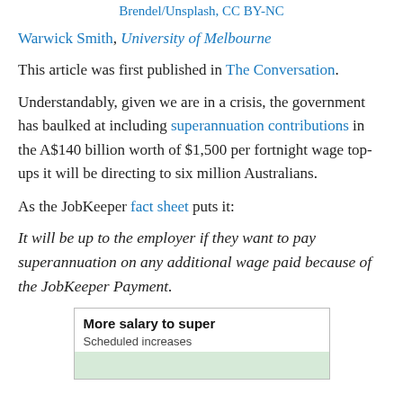Brendel/Unsplash, CC BY-NC
Warwick Smith, University of Melbourne
This article was first published in The Conversation.
Understandably, given we are in a crisis, the government has baulked at including superannuation contributions in the A$140 billion worth of $1,500 per fortnight wage top-ups it will be directing to six million Australians.
As the JobKeeper fact sheet puts it:
It will be up to the employer if they want to pay superannuation on any additional wage paid because of the JobKeeper Payment.
[Figure (other): Chart preview showing 'More salary to super' with subtitle 'Scheduled increases' and a green area chart background]